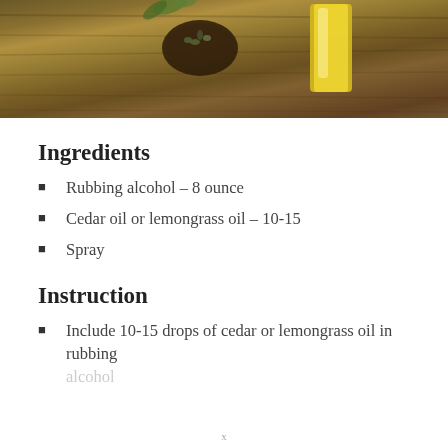[Figure (photo): Photo of olive oil in a glass jar and a dark bowl with seeds/olives on a wooden table surface]
Ingredients
Rubbing alcohol – 8 ounce
Cedar oil or lemongrass oil – 10-15
Spray
Instruction
Include 10-15 drops of cedar or lemongrass oil in rubbing alcohol
x